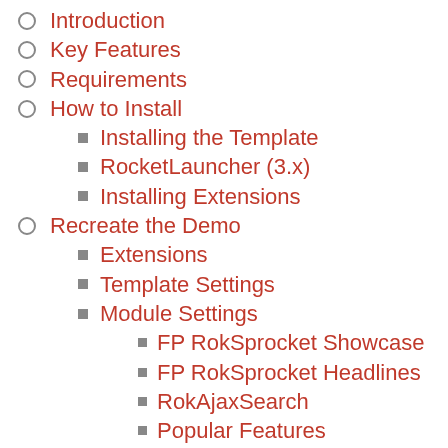Introduction
Key Features
Requirements
How to Install
Installing the Template
RocketLauncher (3.x)
Installing Extensions
Recreate the Demo
Extensions
Template Settings
Module Settings
FP RokSprocket Showcase
FP RokSprocket Headlines
RokAjaxSearch
Popular Features
About Spectral
FP RokSprocket Strips